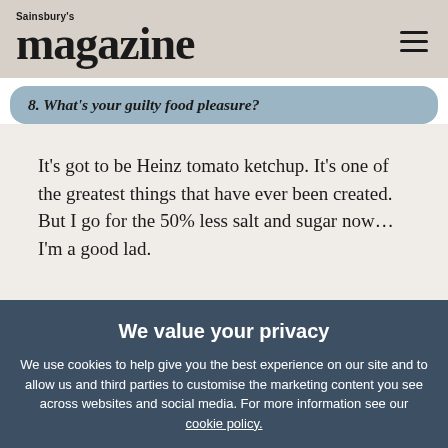Sainsbury's magazine
8. What's your guilty food pleasure?
It's got to be Heinz tomato ketchup. It's one of the greatest things that have ever been created. But I go for the 50% less salt and sugar now… I'm a good lad.
We value your privacy
We use cookies to help give you the best experience on our site and to allow us and third parties to customise the marketing content you see across websites and social media. For more information see our cookie policy.
Manage Preferences
Accept All Cookies